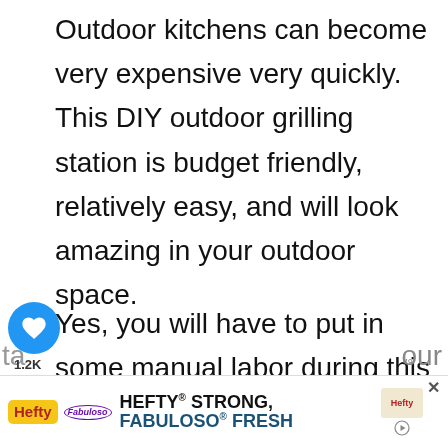Outdoor kitchens can become very expensive very quickly. This DIY outdoor grilling station is budget friendly, relatively easy, and will look amazing in your outdoor space.
Yes, you will have to put in some manual labor during this home project but it will be well worth it to not spend ~10k paying someone else to do it! In this post, we're
[Figure (screenshot): Social media UI overlay showing a blue heart/like button circle with 1.2K count, and a share button circle below it. Also shows a 'WHAT'S NEXT' label with a thumbnail of a bathroom image labeled 'Calm Master Bathroom: A...']
[Figure (screenshot): Hefty advertisement banner at bottom: 'HEFTY STRONG, FABULOSO FRESH' with Hefty and Fabuloso logos]